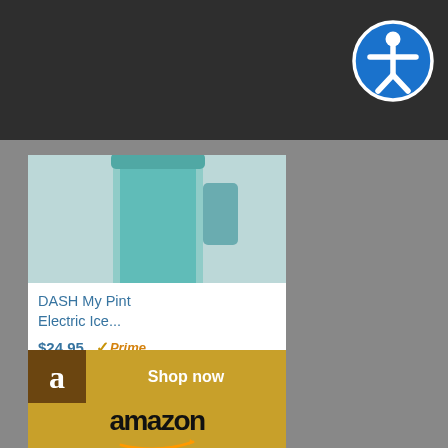[Figure (screenshot): Dark header bar with accessibility icon (person in circle) in top right]
[Figure (photo): DASH My Pint Electric Ice Cream Maker product image - teal/mint colored ice cream maker container]
DASH My Pint Electric Ice...
$24.95  Prime
[Figure (logo): Amazon Shop now button with golden background and Amazon logo with smile]
[Figure (photo): Nicewell Food Scale, 22lb... - silver square kitchen food scale]
Nicewell Food Scale, 22lb...
$19.99  Prime